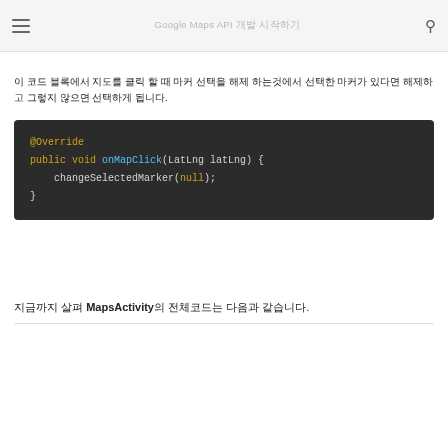이 코드 블록에서 지도를 클릭 할 때 마커 선택을 해제 하는것에서 선택한 마커가 있다면 해제하고 그렇지 않으면 선택하게 됩니다.
[Figure (screenshot): Code block on dark background showing Java code: @Override public void onMapClick(LatLng latLng) { changeSelectedMarker(null); }]
지금까지 살펴 MapsActivity의 전체코드는 다음과 같습니다.